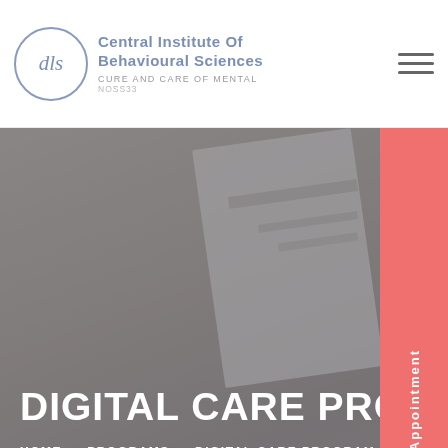Central Institute Of Behavioural Sciences — CURE AND CARE OF MENTAL
[Figure (screenshot): Hero banner with blurred background image of hands filling out a form/document, overlaid with dark semi-transparent tint, large white text 'DIGITAL CARE PROGRAM' and breadcrumb navigation 'HOME > PROGRAMS > DIGITAL CARE PROGRAM', coral/salmon colored 'Book Appointment' vertical button on right side]
1.2023
Care Program
DIGITAL CARE PROGRAM